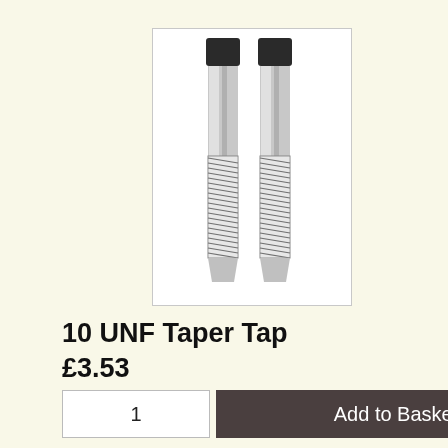[Figure (photo): Two UNF taper taps (threading tools) side by side, with black square shanks at top and spiral-fluted silver bodies below, shown against a white background inside a bordered box.]
10 UNF Taper Tap
£3.53
1
Add to Basket
[Figure (photo): Partial view of two taper taps showing only the black square shanks at the top, cropped at the bottom of the page.]